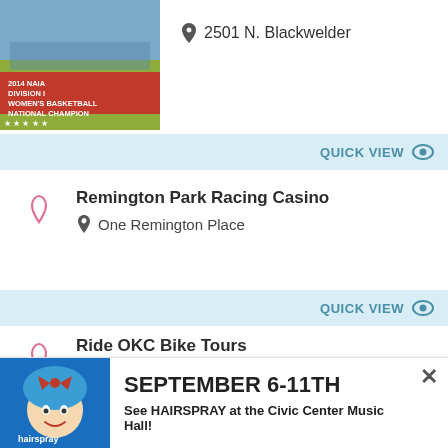[Figure (photo): Team photo with red banner reading '2014 NAIA Division I Women's Basketball National Champion']
2501 N. Blackwelder
QUICK VIEW
Remington Park Racing Casino
One Remington Place
QUICK VIEW
Ride OKC Bike Tours
428 W California Ave
[Figure (logo): Hairspray musical logo with blue-haired cartoon character]
SEPTEMBER 6-11TH
See HAIRSPRAY at the Civic Center Music Hall!